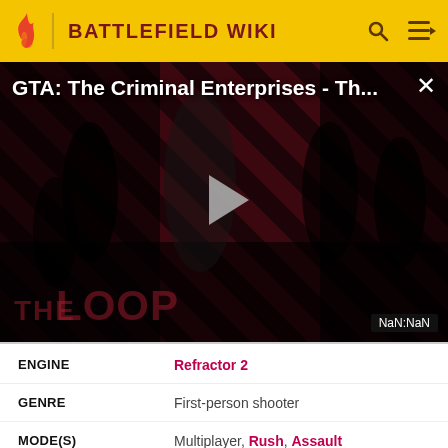BATTLEFIELD WIKI
[Figure (screenshot): Video thumbnail for 'GTA: The Criminal Enterprises - Th...' showing characters from The Loop video series with a striped red background and a play button in the center. NaN:NaN timestamp shown.]
| Field | Value |
| --- | --- |
| ENGINE | Refractor 2 |
| GENRE | First-person shooter |
| MODE(S) | Multiplayer, Rush, Assault |